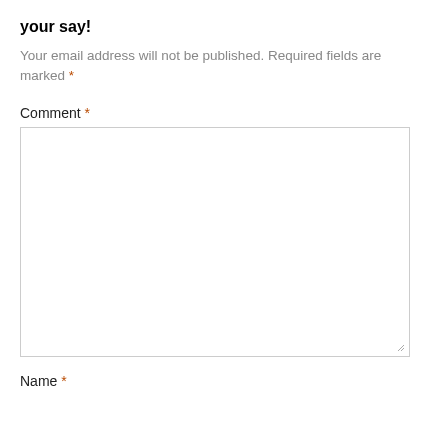your say!
Your email address will not be published. Required fields are marked *
Comment *
[Figure (other): Empty comment textarea input box with resize handle]
Name *